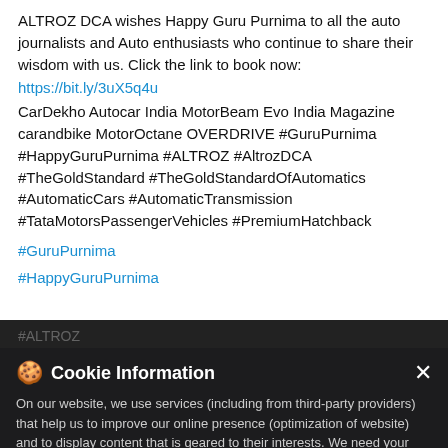ALTROZ DCA wishes Happy Guru Purnima to all the auto journalists and Auto enthusiasts who continue to share their wisdom with us. Click the link to book now: https://bit.ly/3uX5q4u CarDekho Autocar India MotorBeam Evo India Magazine carandbike MotorOctane OVERDRIVE #GuruPurnima #HappyGuruPurnima #ALTROZ #AltrozDCA #TheGoldStandard #TheGoldStandardOfAutomatics #AutomaticCars #AutomaticTransmission #TataMotorsPassengerVehicles #PremiumHatchback
#GuruPurnima
#HappyGuruPurnima
#ALTROZ #AltrozDCA #TheGoldStandardOfAutomatics #AutomaticTransmission #TataMotorsPassengerVehicles
Cookie Information
On our website, we use services (including from third-party providers) that help us to improve our online presence (optimization of website) and to display content that is geared to their interests. We need your consent before being able to use these services.
I ACCEPT